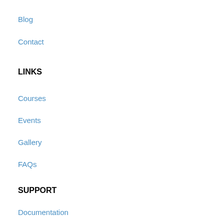Blog
Contact
LINKS
Courses
Events
Gallery
FAQs
SUPPORT
Documentation
Forums
Language Packs